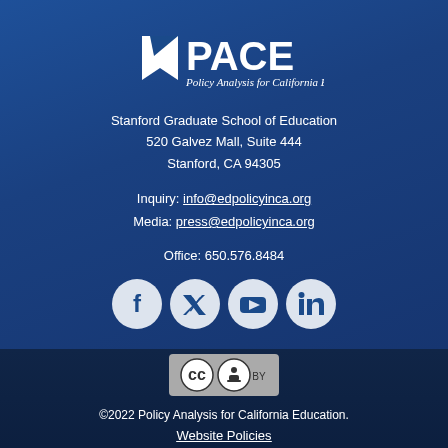[Figure (logo): PACE logo — Policy Analysis for California Education — white text and diagonal flag/bookmark icon on blue background]
Stanford Graduate School of Education
520 Galvez Mall, Suite 444
Stanford, CA 94305
Inquiry: info@edpolicyinca.org
Media: press@edpolicyinca.org
Office: 650.576.8484
[Figure (infographic): Four circular social media icons: Facebook, Twitter, YouTube, LinkedIn — white icons on light circle backgrounds]
[Figure (logo): Creative Commons CC BY license badge]
©2022 Policy Analysis for California Education.
Website Policies